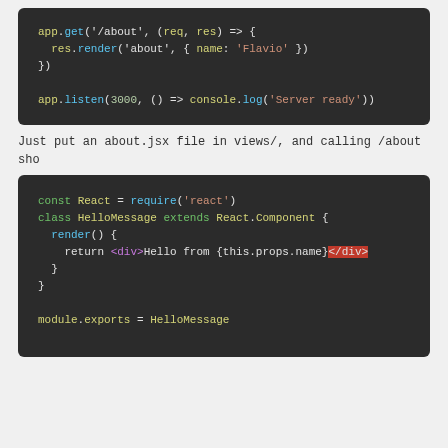[Figure (screenshot): Code block showing Express.js route for /about and app.listen on port 3000]
Just put an about.jsx file in views/, and calling /about sho
[Figure (screenshot): Code block showing React component HelloMessage with require, class definition, render method returning JSX, and module.exports]